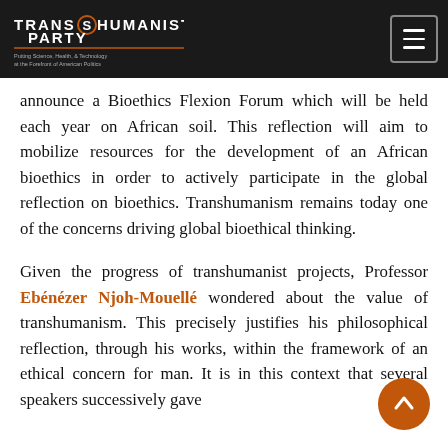TRANSHUMANIST PARTY — Putting Science, Health, & Technology at the Forefront of American Politics
announce a Bioethics Flexion Forum which will be held each year on African soil. This reflection will aim to mobilize resources for the development of an African bioethics in order to actively participate in the global reflection on bioethics. Transhumanism remains today one of the concerns driving global bioethical thinking.
Given the progress of transhumanist projects, Professor Ebénézer Njoh-Mouellé wondered about the value of transhumanism. This precisely justifies his philosophical reflection, through his works, within the framework of an ethical concern for man. It is in this context that several speakers successively gave